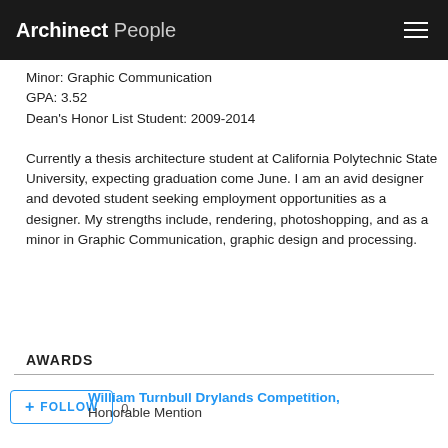Archinect People
Minor: Graphic Communication
GPA: 3.52
Dean's Honor List Student: 2009-2014
Currently a thesis architecture student at California Polytechnic State University, expecting graduation come June. I am an avid designer and devoted student seeking employment opportunities as a designer. My strengths include, rendering, photoshopping, and as a minor in Graphic Communication, graphic design and processing.
AWARDS
William Turnbull Drylands Competition, Honorable Mention